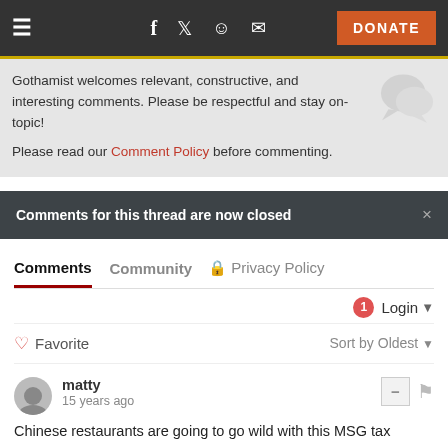≡  f  🐦  👽  ✉  DONATE
Gothamist welcomes relevant, constructive, and interesting comments. Please be respectful and stay on-topic!
Please read our Comment Policy before commenting.
Comments for this thread are now closed
Comments  Community  🔒 Privacy Policy
1  Login ▾
♡ Favorite  Sort by Oldest ▾
matty
15 years ago
Chinese restaurants are going to go wild with this MSG tax